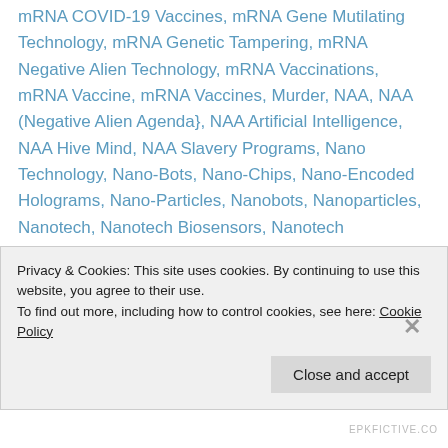mRNA COVID-19 Vaccines, mRNA Gene Mutilating Technology, mRNA Genetic Tampering, mRNA Negative Alien Technology, mRNA Vaccinations, mRNA Vaccine, mRNA Vaccines, Murder, NAA, NAA (Negative Alien Agenda}, NAA Artificial Intelligence, NAA Hive Mind, NAA Slavery Programs, Nano Technology, Nano-Bots, Nano-Chips, Nano-Encoded Holograms, Nano-Particles, Nanobots, Nanoparticles, Nanotech, Nanotech Biosensors, Nanotech Vaccinations, Nanotechnology, Narratives, Natural Light, Negative Alien Agenda, Negative Behaviors, Neurology, New Age, New Age Agenda, New Age Bliss, New Age Community, New Age Deception, New Age Disinformation, New Age Dogma, New
Privacy & Cookies: This site uses cookies. By continuing to use this website, you agree to their use.
To find out more, including how to control cookies, see here: Cookie Policy